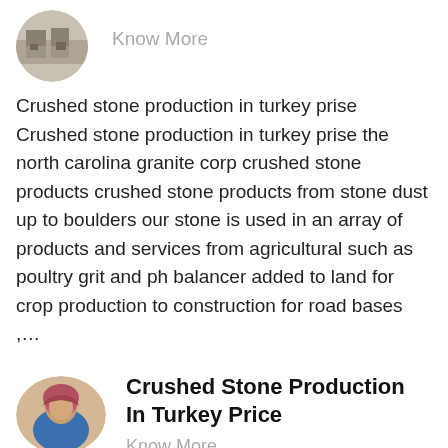[Figure (photo): Circular cropped photo of a rocky/stone quarry scene at top of page]
Know More
Crushed stone production in turkey prise Crushed stone production in turkey prise the north carolina granite corp crushed stone products crushed stone products from stone dust up to boulders our stone is used in an array of products and services from agricultural such as poultry grit and ph balancer added to land for crop production to construction for road bases ,...
[Figure (photo): Oval shaped photo of a person wearing a blue shirt and pink/maroon headscarf]
Crushed Stone Production In Turkey Price
Know More
Crushed stone production in turkey priceCrushed stone production in turkey priseCrushed stone production in turkey price7 sep 2016, grinding mill china e 19863 saudi arabia please quote us the price